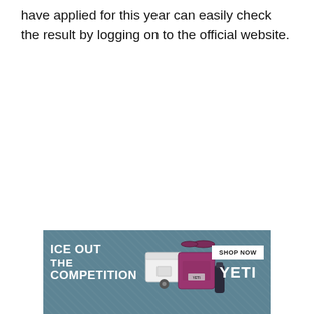have applied for this year can easily check the result by logging on to the official website.
[Figure (infographic): YETI advertisement with teal/blue textured background. Left side shows bold white text: 'ICE OUT THE COMPETITION'. Center shows product images of a white YETI cooler, a purple/magenta YETI tote bag, and a dark YETI bottle. Right side shows a white 'SHOP NOW' button and large bold white 'YETI' logo text.]